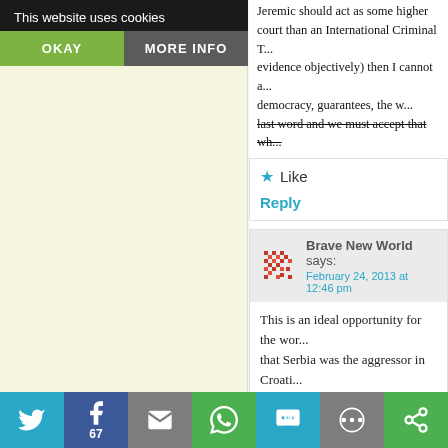This website uses cookies
OKAY
MORE INFO
Jeremic should act as some higher court than an International Criminal T... evidence objectively) then I cannot a... democracy, guarantees, the w... last word and we must accept that wh...
Like
Reply
Brave New World says: February 24, 2013 at 12:46 pm
This is an ideal opportunity for the wor... that Serbia was the aggressor in Croati... Herzegovina, and if that happens then p... reconciliation in that region can comme... debate is covering war crimes in other... is just so unfair for Serbia to steal the li... justify their crime of aggression. Bushi...
67